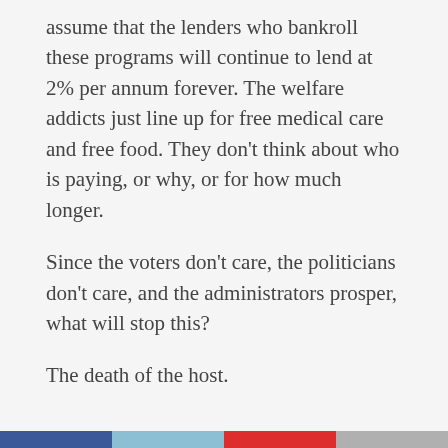assume that the lenders who bankroll these programs will continue to lend at 2% per annum forever. The welfare addicts just line up for free medical care and free food. They don't think about who is paying, or why, or for how much longer.
Since the voters don't care, the politicians don't care, and the administrators prosper, what will stop this?
The death of the host.
[Figure (infographic): Social share bar with four buttons: Share (Facebook, dark blue), Tweet (Twitter, light blue), +1 (Google Plus, red), Mail (grey)]
Related
Ryan: "Pass ObamaCare Lite . . . Or Else!"
Paul Ryan, whose commitment to Ayn Rand's